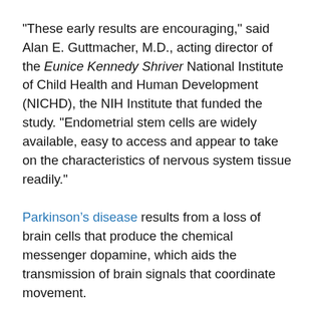"These early results are encouraging," said Alan E. Guttmacher, M.D., acting director of the Eunice Kennedy Shriver National Institute of Child Health and Human Development (NICHD), the NIH Institute that funded the study. "Endometrial stem cells are widely available, easy to access and appear to take on the characteristics of nervous system tissue readily."
Parkinson’s disease results from a loss of brain cells that produce the chemical messenger dopamine, which aids the transmission of brain signals that coordinate movement.
This is the first time that researchers have successfully transplanted stem cells derived from the endometrium, or the lining of the uterus, into another kind of tissue (the brain) and shown that these cells can develop into cells with the